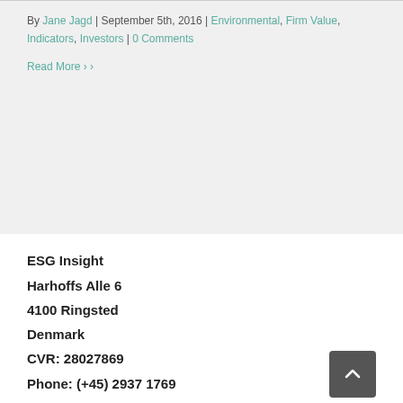By Jane Jagd | September 5th, 2016 | Environmental, Firm Value, Indicators, Investors | 0 Comments
Read More ›
ESG Insight
Harhoffs Alle 6
4100 Ringsted
Denmark
CVR: 28027869
Phone: (+45) 2937 1769